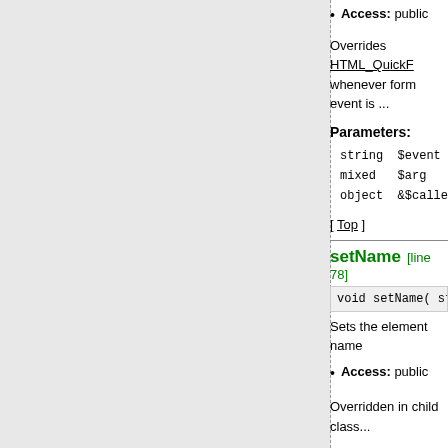Access: public
Overrides HTML_QuickF... whenever form event is ...
Parameters:
string $event  —
mixed $arg    —
object &$caller —
[ Top ]
setName  [line 78]
void setName( str...
Sets the element name
Access: public
Overridden in child class...
HTML_QuickForm_link::
Sets the input fie...